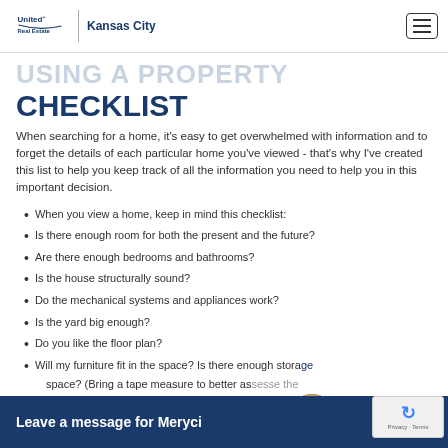United Real Estate | Kansas City
USING A PROPERTY CHECKLIST
When searching for a home, it's easy to get overwhelmed with information and to forget the details of each particular home you've viewed - that's why I've created this list to help you keep track of all the information you need to help you in this important decision.
When you view a home, keep in mind this checklist:
Is there enough room for both the present and the future?
Are there enough bedrooms and bathrooms?
Is the house structurally sound?
Do the mechanical systems and appliances work?
Is the yard big enough?
Do you like the floor plan?
Will my furniture fit in the space? Is there enough storage space? (Bring a tape measure to better assess the
seller
Leave a message for Meryci